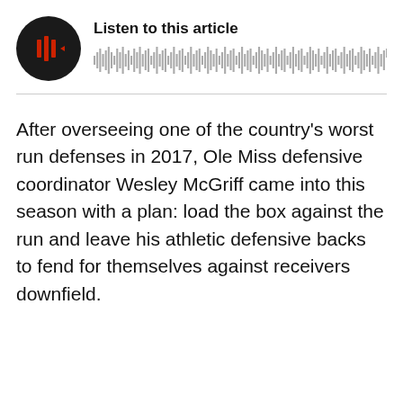[Figure (other): Audio player widget with circular black play button showing red sound bars icon, title 'Listen to this article', and waveform visualization bar]
After overseeing one of the country's worst run defenses in 2017, Ole Miss defensive coordinator Wesley McGriff came into this season with a plan: load the box against the run and leave his athletic defensive backs to fend for themselves against receivers downfield.